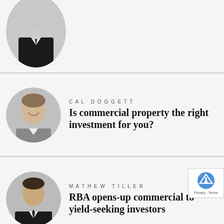[Figure (photo): Partial circular black and white headshot photo of a man in a suit at the top of the page]
[Figure (photo): Circular black and white headshot photo of Cal Doggett, a smiling man]
CAL DOGGETT
Is commercial property the right investment for you?
[Figure (photo): Circular black and white headshot photo of Mathew Tiller, a man in a suit with a tie]
MATHEW TILLER
RBA opens-up commercial to yield-seeking investors
[Figure (photo): Partial circular black and white headshot photo of Dyan Sisouw at the bottom of the page]
DYAN SISOUW
The importance of maintaining